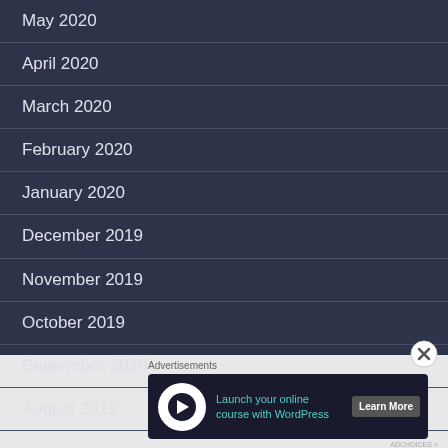May 2020
April 2020
March 2020
February 2020
January 2020
December 2019
November 2019
October 2019
September 2019
August 2019
Advertisements
[Figure (infographic): Advertisement banner: Launch your online course with WordPress - Learn More button with circular icon]